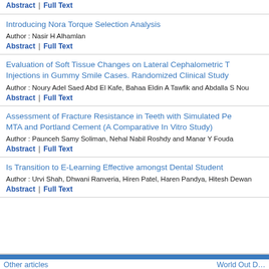Abstract | Full Text
Introducing Nora Torque Selection Analysis
Author : Nasir H Alhamlan
Abstract | Full Text
Evaluation of Soft Tissue Changes on Lateral Cephalometric Injections in Gummy Smile Cases. Randomized Clinical Study
Author : Noury Adel Saed Abd El Kafe, Bahaa Eldin A Tawfik and Abdalla S Nou…
Abstract | Full Text
Assessment of Fracture Resistance in Teeth with Simulated Pe… MTA and Portland Cement (A Comparative In Vitro Study)
Author : Paunceh Samy Soliman, Nehal Nabil Roshdy and Manar Y Fouda
Abstract | Full Text
Is Transition to E-Learning Effective amongst Dental Student…
Author : Urvi Shah, Dhwani Ranveria, Hiren Patel, Haren Pandya, Hitesh Dewan…
Abstract | Full Text
Other articles … World Out D…